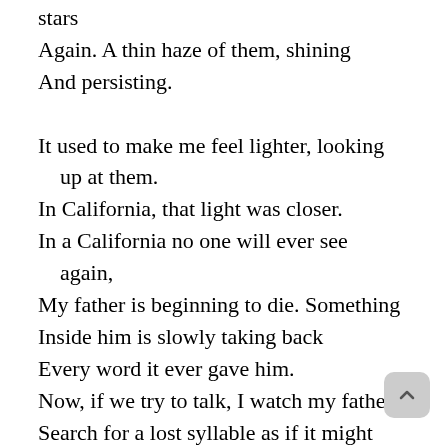stars
Again. A thin haze of them, shining
And persisting.

It used to make me feel lighter, looking
    up at them.
In California, that light was closer.
In a California no one will ever see
    again,
My father is beginning to die. Something
Inside him is slowly taking back
Every word it ever gave him.
Now, if we try to talk, I watch my father
Search for a lost syllable as if it might
Solve everything, & though he can't
    remember, now,
The word for it is beginning somewhere